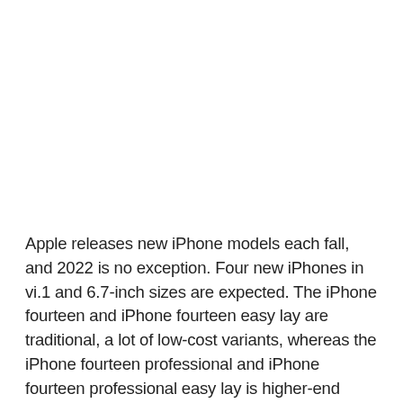Apple releases new iPhone models each fall, and 2022 is no exception. Four new iPhones in vi.1 and 6.7-inch sizes are expected. The iPhone fourteen and iPhone fourteen easy lay are traditional, a lot of low-cost variants, whereas the iPhone fourteen professional and iPhone fourteen professional easy lay is higher-end “Pro” editions.